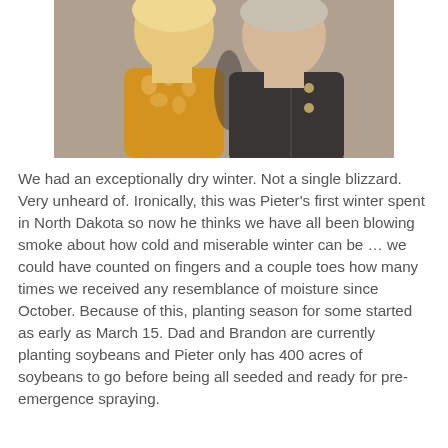[Figure (photo): Close-up photo of two women posing together. The woman on the left wears a golden-yellow floral embroidered top. The woman on the right wears a dark jacket.]
We had an exceptionally dry winter. Not a single blizzard. Very unheard of. Ironically, this was Pieter's first winter spent in North Dakota so now he thinks we have all been blowing smoke about how cold and miserable winter can be … we could have counted on fingers and a couple toes how many times we received any resemblance of moisture since October. Because of this, planting season for some started as early as March 15. Dad and Brandon are currently planting soybeans and Pieter only has 400 acres of soybeans to go before being all seeded and ready for pre-emergence spraying.